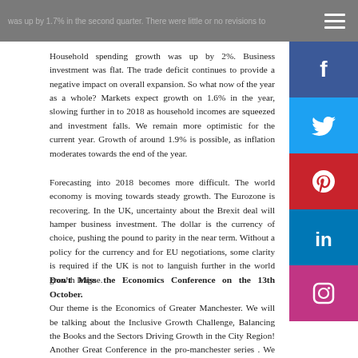was up by 1.7% in the second quarter. There were little or no revisions to
Household spending growth was up by 2%. Business investment was flat. The trade deficit continues to provide a negative impact on overall expansion. So what now of the year as a whole? Markets expect growth on 1.6% in the year, slowing further in to 2018 as household incomes are squeezed and investment falls. We remain more optimistic for the current year. Growth of around 1.9% is possible, as inflation moderates towards the end of the year.
Forecasting into 2018 becomes more difficult. The world economy is moving towards steady growth. The Eurozone is recovering. In the UK, uncertainty about the Brexit deal will hamper business investment. The dollar is the currency of choice, pushing the pound to parity in the near term. Without a policy for the currency and for EU negotiations, some clarity is required if the UK is not to languish further in the world growth league.
Don't Miss the Economics Conference on the 13th October.
Our theme is the Economics of Greater Manchester. We will be talking about the Inclusive Growth Challenge, Balancing the Books and the Sectors Driving Growth in the City Region! Another Great Conference in the pro-manchester series . We have a great line up of speakers to be announced soon. Book Now Don't Miss Out ...
John
[Figure (infographic): Social media sharing sidebar buttons: Facebook (blue), Twitter (light blue), Pinterest (red), LinkedIn (blue), Instagram (pink/magenta)]